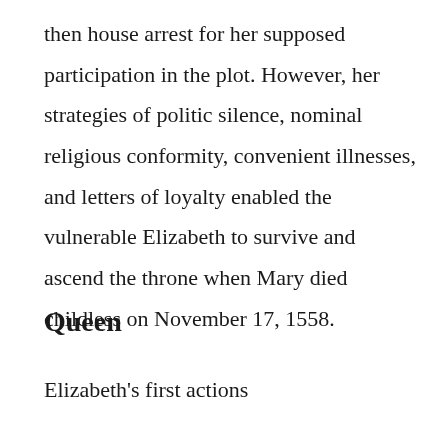then house arrest for her supposed participation in the plot. However, her strategies of politic silence, nominal religious conformity, convenient illnesses, and letters of loyalty enabled the vulnerable Elizabeth to survive and ascend the throne when Mary died childless on November 17, 1558.
Queen
Elizabeth's first actions as queen were to appoint